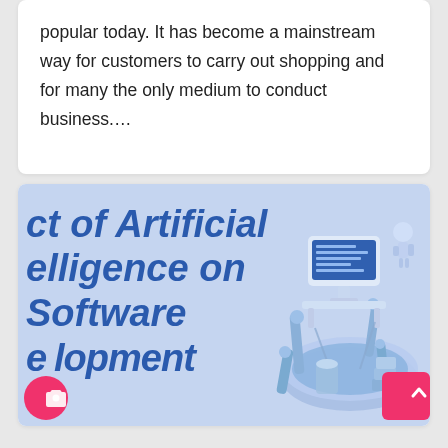popular today. It has become a mainstream way for customers to carry out shopping and for many the only medium to conduct business.…
[Figure (illustration): Banner image with light blue background showing partial text 'ct of Artificial elligence on Software evelopment' in bold dark blue italic font, with an isometric tech illustration on the right featuring a robot, computer monitor, robotic arms, and circular platform. Bottom left has a pink camera icon button and bottom right has a pink scroll-to-top arrow button.]